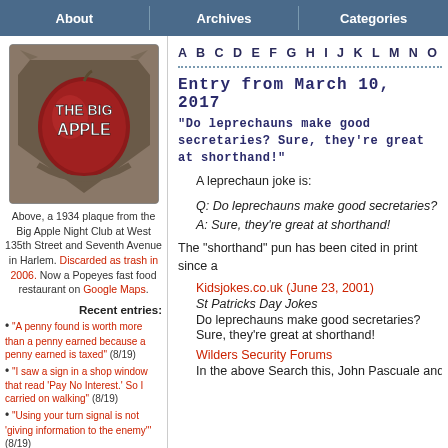About | Archives | Categories
[Figure (photo): A 1934 plaque from the Big Apple Night Club showing a red apple on a decorative shield/crest shape with 'THE BIG APPLE' text]
Above, a 1934 plaque from the Big Apple Night Club at West 135th Street and Seventh Avenue in Harlem. Discarded as trash in 2006. Now a Popeyes fast food restaurant on Google Maps.
Recent entries:
"A penny found is worth more than a penny earned because a penny earned is taxed" (8/19)
"I saw a sign in a shop window that read 'Pay No Interest.' So I carried on walking" (8/19)
"Using your turn signal is not 'giving information to the enemy'" (8/19)
A B C D E F G H I J K L M N O P Q R S T U
Entry from March 10, 2017
“Do leprechauns make good secretaries? Sure, they’re great at shorthand!”
A leprechaun joke is:
Q: Do leprechauns make good secretaries?
A: Sure, they’re great at shorthand!
The “shorthand” pun has been cited in print since a
Kidsjokes.co.uk (June 23, 2001)
St Patricks Day Jokes
Do leprechauns make good secretaries?
Sure, they’re great at shorthand!
Wilders Security Forums
In the above Search this, John Pascuale and T